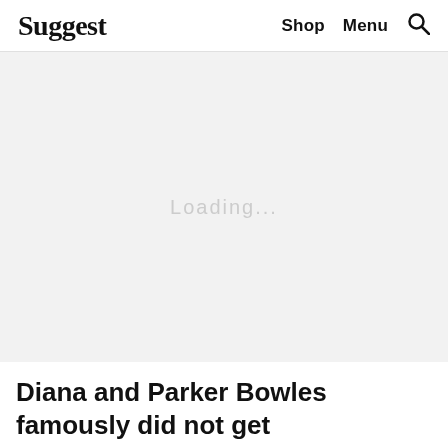Suggest   Shop   Menu   🔍
[Figure (photo): Large image placeholder with 'Loading...' text centered in a light gray rectangle]
Diana and Parker Bowles famously did not get